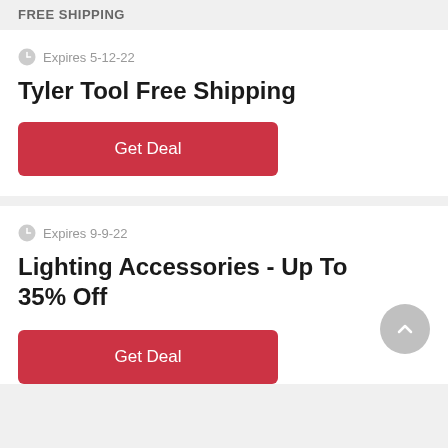FREE SHIPPING
Expires 5-12-22
Tyler Tool Free Shipping
Get Deal
Expires 9-9-22
Lighting Accessories - Up To 35% Off
Get Deal